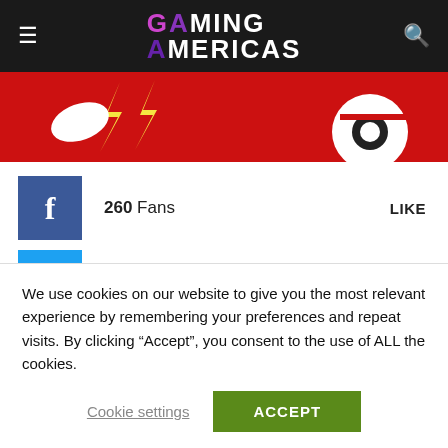Gaming Americas
[Figure (photo): Red banner image with lightning bolts and decorative elements]
260  Fans   LIKE
151  Followers   FOLLOW
Tweets by GamingAmericas
We use cookies on our website to give you the most relevant experience by remembering your preferences and repeat visits. By clicking “Accept”, you consent to the use of ALL the cookies.